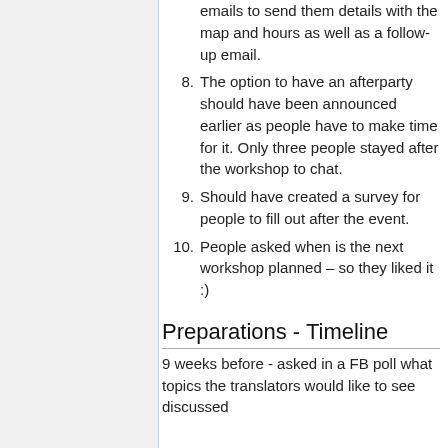emails to send them details with the map and hours as well as a follow-up email.
8. The option to have an afterparty should have been announced earlier as people have to make time for it. Only three people stayed after the workshop to chat.
9. Should have created a survey for people to fill out after the event.
10. People asked when is the next workshop planned – so they liked it :)
Preparations - Timeline
9 weeks before - asked in a FB poll what topics the translators would like to see discussed